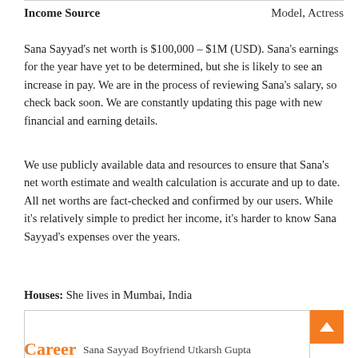| Income Source | Model, Actress |
| --- | --- |
Sana Sayyad’s net worth is $100,000 – $1M (USD). Sana’s earnings for the year have yet to be determined, but she is likely to see an increase in pay. We are in the process of reviewing Sana’s salary, so check back soon. We are constantly updating this page with new financial and earning details.
We use publicly available data and resources to ensure that Sana’s net worth estimate and wealth calculation is accurate and up to date. All net worths are fact-checked and confirmed by our users. While it’s relatively simple to predict her income, it’s harder to know Sana Sayyad’s expenses over the years.
Houses: She lives in Mumbai, India
[Figure (photo): Photo placeholder with caption: Sana Sayyad Boyfriend Utkarsh Gupta]
Sana Sayyad Boyfriend Utkarsh Gupta
Career